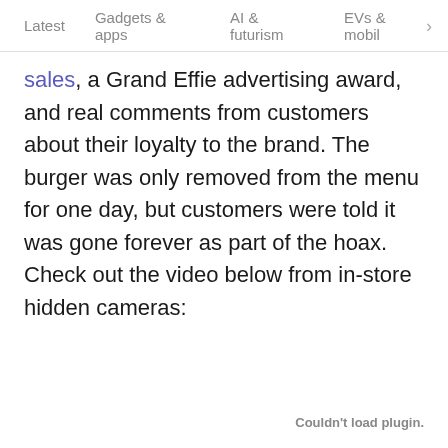Latest   Gadgets & apps   AI & futurism   EVs & mobil  >
sales, a Grand Effie advertising award, and real comments from customers about their loyalty to the brand. The burger was only removed from the menu for one day, but customers were told it was gone forever as part of the hoax. Check out the video below from in-store hidden cameras:
Couldn't load plugin.